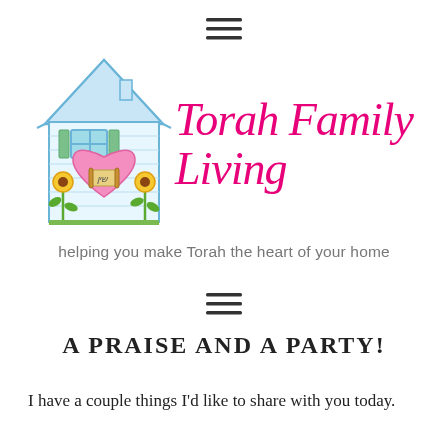≡
[Figure (logo): Torah Family Living logo: hand-drawn house with blue roof, pink heart, sunflowers, and cursive magenta text reading 'Torah Family Living']
helping you make Torah the heart of your home
≡
A PRAISE AND A PARTY!
I have a couple things I'd like to share with you today.